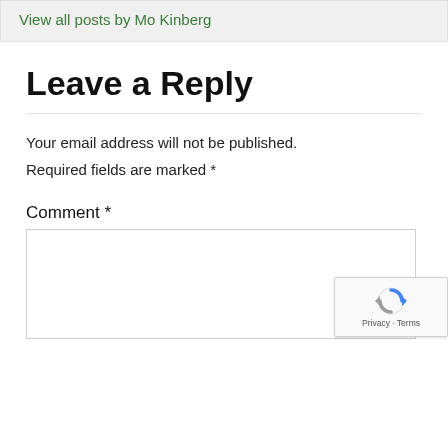View all posts by Mo Kinberg
Leave a Reply
Your email address will not be published.
Required fields are marked *
Comment *
[Figure (logo): reCAPTCHA badge with spinning arrows icon and 'Privacy - Terms' text]